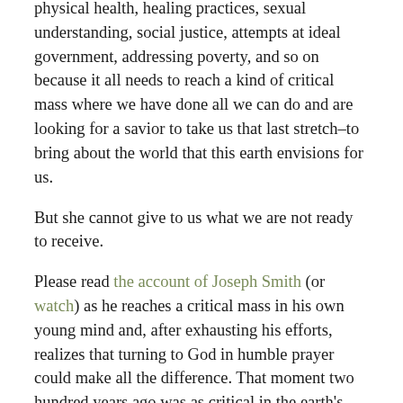physical health, healing practices, sexual understanding, social justice, attempts at ideal government, addressing poverty, and so on because it all needs to reach a kind of critical mass where we have done all we can do and are looking for a savior to take us that last stretch–to bring about the world that this earth envisions for us.
But she cannot give to us what we are not ready to receive.
Please read the account of Joseph Smith (or watch) as he reaches a critical mass in his own young mind and, after exhausting his efforts, realizes that turning to God in humble prayer could make all the difference. That moment two hundred years ago was as critical in the earth's purpose as the birth of Jesus Christ was.